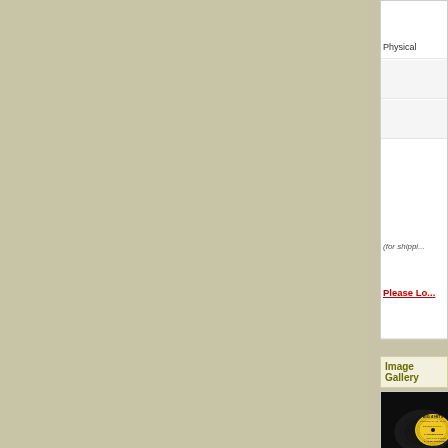Physical
(for shipping)
Please Lo...
Image Gallery
[Figure (photo): A vinyl record with a yellow label reading BIG 4 HITS, Cincinnati, Ohio. Extended Play, catalog number 173-A. Tracks listed: 1. SIXTEEN TONS (Vocal: Jack Barnes), 2. AT MY FRONT DOOR (Vocal: Art Rouse)]